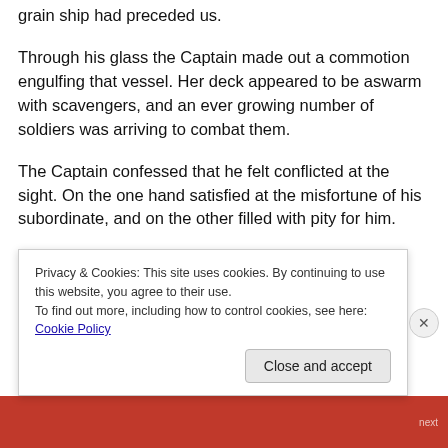grain ship had preceded us.
Through his glass the Captain made out a commotion engulfing that vessel. Her deck appeared to be aswarm with scavengers, and an ever growing number of soldiers was arriving to combat them.
The Captain confessed that he felt conflicted at the sight. On the one hand satisfied at the misfortune of his subordinate, and on the other filled with pity for him.
News that we will be kept here longer arrived with the
Privacy & Cookies: This site uses cookies. By continuing to use this website, you agree to their use.
To find out more, including how to control cookies, see here: Cookie Policy
Close and accept